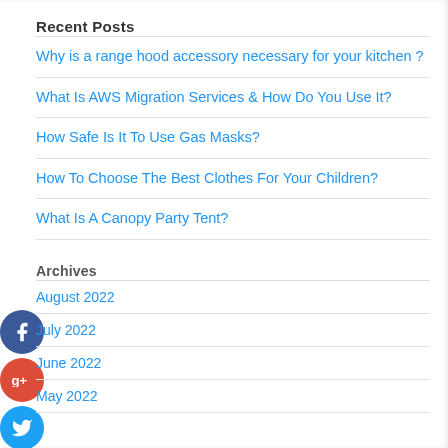Recent Posts
Why is a range hood accessory necessary for your kitchen ?
What Is AWS Migration Services & How Do You Use It?
How Safe Is It To Use Gas Masks?
How To Choose The Best Clothes For Your Children?
What Is A Canopy Party Tent?
Archives
August 2022
July 2022
June 2022
May 2022